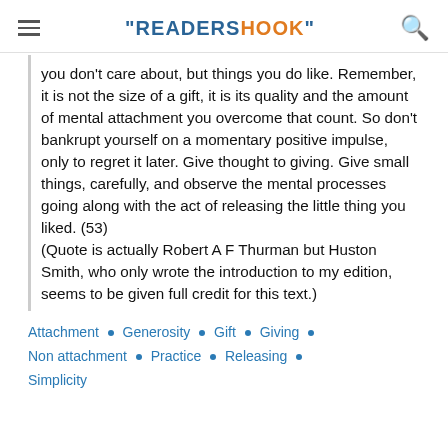"READERSHOOK"
you don't care about, but things you do like. Remember, it is not the size of a gift, it is its quality and the amount of mental attachment you overcome that count. So don't bankrupt yourself on a momentary positive impulse, only to regret it later. Give thought to giving. Give small things, carefully, and observe the mental processes going along with the act of releasing the little thing you liked. (53)
(Quote is actually Robert A F Thurman but Huston Smith, who only wrote the introduction to my edition, seems to be given full credit for this text.)
Attachment • Generosity • Gift • Giving • Non attachment • Practice • Releasing • Simplicity